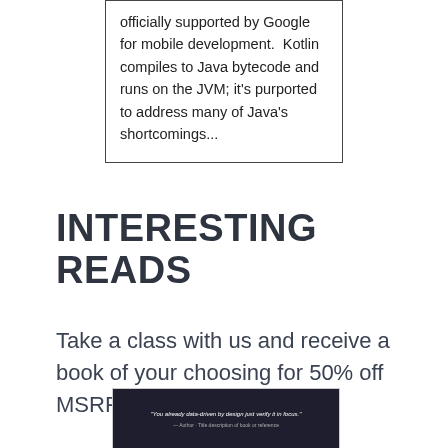officially supported by Google for mobile development.  Kotlin compiles to Java bytecode and runs on the JVM; it's purported to address many of Java's shortcomings...
INTERESTING READS
Take a class with us and receive a book of your choosing for 50% off MSRP.
[Figure (photo): Book cover image with a dark background and a quote in white italic text, with attribution below in smaller grey text.]